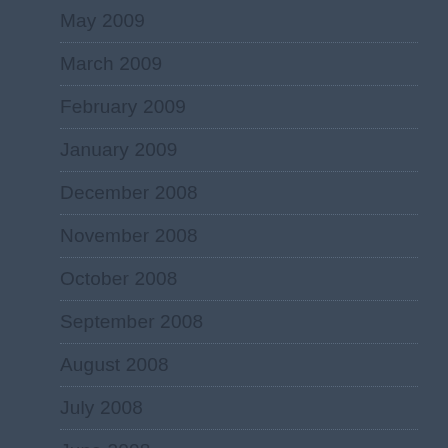May 2009
March 2009
February 2009
January 2009
December 2008
November 2008
October 2008
September 2008
August 2008
July 2008
June 2008
May 2008
April 2008